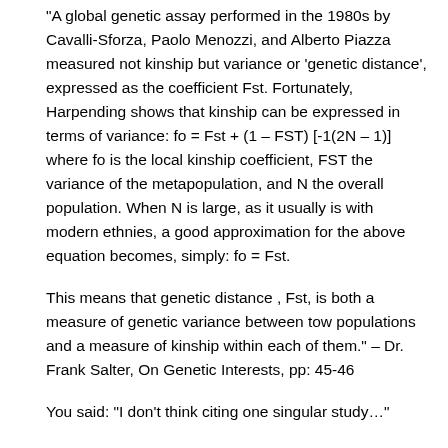“A global genetic assay performed in the 1980s by Cavalli-Sforza, Paolo Menozzi, and Alberto Piazza measured not kinship but variance or ‘genetic distance’, expressed as the coefficient Fst. Fortunately, Harpending shows that kinship can be expressed in terms of variance: fo = Fst + (1 – FST) [-1(2N – 1)] where fo is the local kinship coefficient, FST the variance of the metapopulation, and N the overall population. When N is large, as it usually is with modern ethnies, a good approximation for the above equation becomes, simply: fo = Fst.
This means that genetic distance , Fst, is both a measure of genetic variance between tow populations and a measure of kinship within each of them.” – Dr. Frank Salter, On Genetic Interests, pp: 45-46
You said: “I don’t think citing one singular study…”
The tendency is for genetic variation and similarity to be